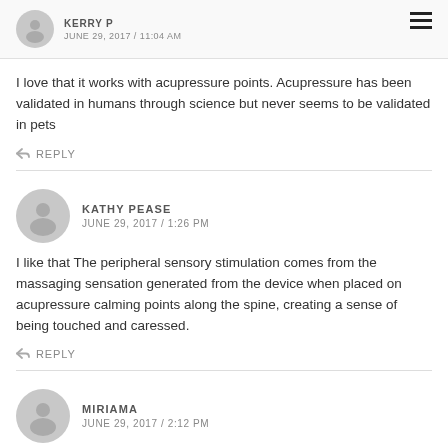KERRY P
JUNE 29, 2017 / 11:04 AM
I love that it works with acupressure points. Acupressure has been validated in humans through science but never seems to be validated in pets
↩ REPLY
KATHY PEASE
JUNE 29, 2017 / 1:26 PM
I like that The peripheral sensory stimulation comes from the massaging sensation generated from the device when placed on acupressure calming points along the spine, creating a sense of being touched and caressed.
↩ REPLY
MIRIAMA
JUNE 29, 2017 / 2:12 PM